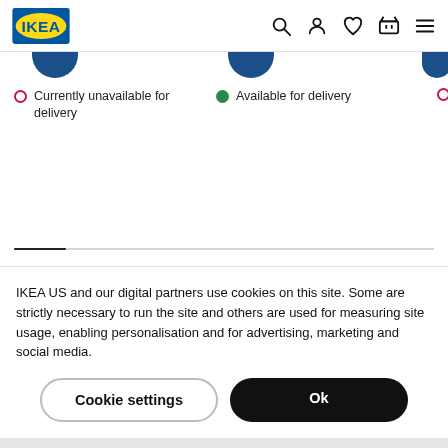IKEA navigation header with logo and icons
Currently unavailable for delivery
Available for delivery
IKEA US and our digital partners use cookies on this site. Some are strictly necessary to run the site and others are used for measuring site usage, enabling personalisation and for advertising, marketing and social media.
Cookie settings
Ok